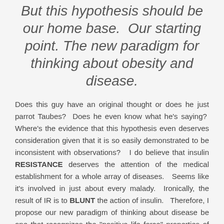But this hypothesis should be our home base.  Our starting point. The new paradigm for thinking about obesity and disease.
Does this guy have an original thought or does he just parrot Taubes?  Does he even know what he's saying?  Where's the evidence that this hypothesis even deserves consideration given that it is so easily demonstrated to be inconsistent with observations?   I do believe that insulin RESISTANCE deserves the attention of the medical establishment for a whole array of diseases.   Seems like it's involved in just about every malady.  Ironically, the result of IR is to BLUNT the action of insulin.   Therefore, I propose our new paradigm of thinking about disease be one that recognizes the "positive life force" properties of insulin and what we can eat and do to maximize our body's sensitivity to its action.